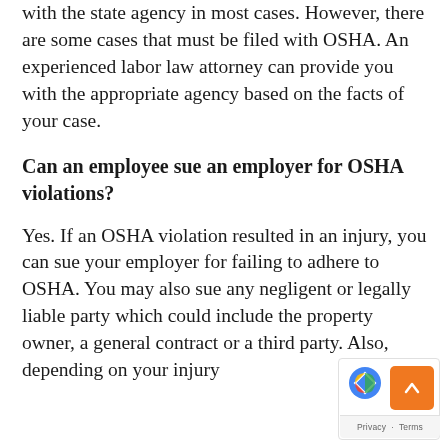with the state agency in most cases. However, there are some cases that must be filed with OSHA. An experienced labor law attorney can provide you with the appropriate agency based on the facts of your case.
Can an employee sue an employer for OSHA violations?
Yes. If an OSHA violation resulted in an injury, you can sue your employer for failing to adhere to OSHA. You may also sue any negligent or legally liable party which could include the property owner, a general contract or a third party. Also, depending on your injury